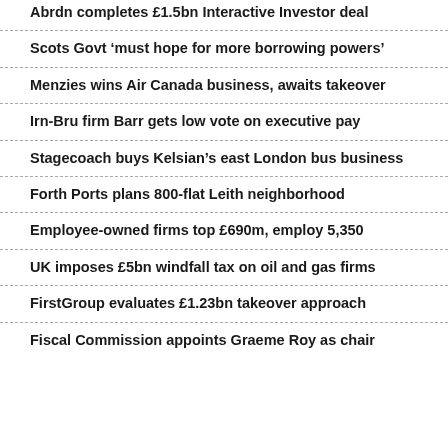Abrdn completes £1.5bn Interactive Investor deal
Scots Govt 'must hope for more borrowing powers'
Menzies wins Air Canada business, awaits takeover
Irn-Bru firm Barr gets low vote on executive pay
Stagecoach buys Kelsian's east London bus business
Forth Ports plans 800-flat Leith neighborhood
Employee-owned firms top £690m, employ 5,350
UK imposes £5bn windfall tax on oil and gas firms
FirstGroup evaluates £1.23bn takeover approach
Fiscal Commission appoints Graeme Roy as chair